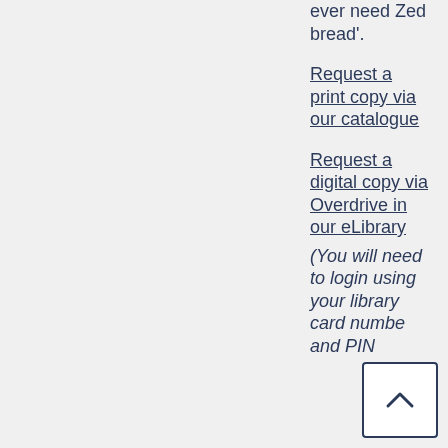ever need Zed bread'.
Request a print copy via our catalogue
Request a digital copy via Overdrive in our eLibrary (You will need to login using your library card number and PIN